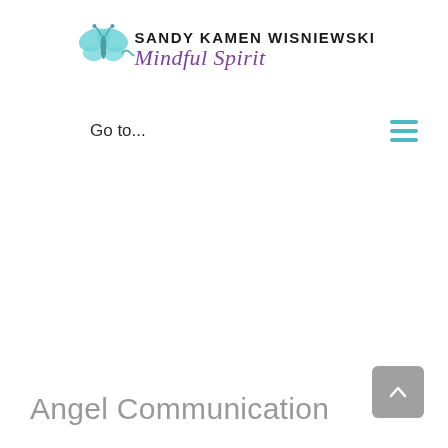[Figure (logo): Sandy Kamen Wisniewski Mindful Spirit logo with teal butterfly and wavy line]
Go to...
[Figure (other): Hamburger menu icon with three teal horizontal lines]
Angel Communication
[Figure (other): Back to top button — grey rounded rectangle with upward chevron arrow]